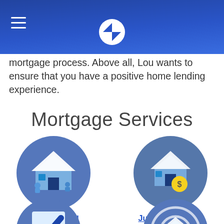Chase mortgage services page header with hamburger menu and Chase logo
mortgage process. Above all, Lou wants to ensure that you have a positive home lending experience.
Mortgage Services
[Figure (illustration): Circular blue icon with house graphic - Conventional Mortgage]
Conventional Mortgage
[Figure (illustration): Circular blue icon with house and dollar sign graphic - Jumbo Mortgage]
Jumbo Mortgage
[Figure (illustration): Circular blue icon with clipboard and checkmark - partially visible]
[Figure (illustration): Circular blue icon with house and target/radar graphic - partially visible]